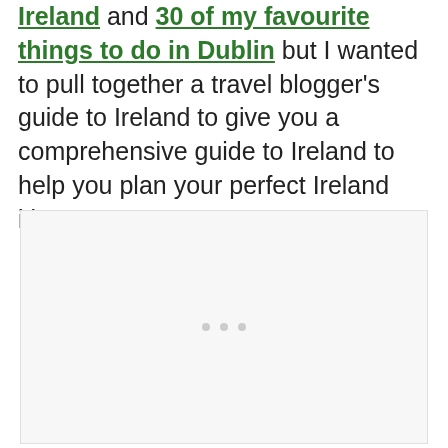Ireland and 30 of my favourite things to do in Dublin but I wanted to pull together a travel blogger's guide to Ireland to give you a comprehensive guide to Ireland to help you plan your perfect Ireland itinerary.
[Figure (other): Advertisement placeholder box with three small dots centered near the bottom, light gray background with border]